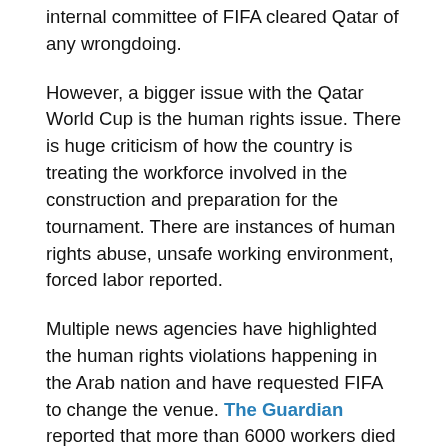internal committee of FIFA cleared Qatar of any wrongdoing.
However, a bigger issue with the Qatar World Cup is the human rights issue. There is huge criticism of how the country is treating the workforce involved in the construction and preparation for the tournament. There are instances of human rights abuse, unsafe working environment, forced labor reported.
Multiple news agencies have highlighted the human rights violations happening in the Arab nation and have requested FIFA to change the venue. The Guardian reported that more than 6000 workers died in Qatar after the country was awarded the hosting rights.
BREAKING: Former UEFA president Michel Platini